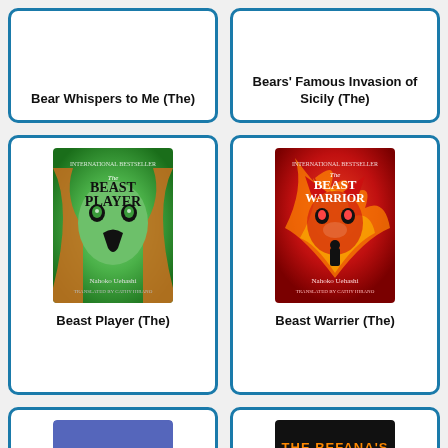[Figure (illustration): Book card for 'Bear Whispers to Me (The)' - partial top card, white card with blue border, title text visible]
Bear Whispers to Me (The)
[Figure (illustration): Book card for 'Bears' Famous Invasion of Sicily (The)' - partial top card, white card with blue border, book cover image partially visible at top, title text visible]
Bears' Famous Invasion of Sicily (The)
[Figure (photo): Book cover of 'The Beast Player' by Nahoko Uehashi - green and orange animal face illustration]
Beast Player (The)
[Figure (photo): Book cover of 'The Beast Warrior' by Nahoko Uehashi - red fox-like creature illustration]
Beast Warrier (The)
[Figure (illustration): Book card for unknown title - partial bottom card with blue placeholder cover]
[Figure (illustration): Book card partial - 'The Befana's Toyshop' cover visible at bottom]